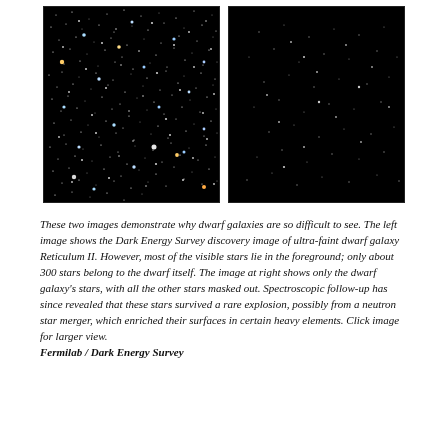[Figure (photo): Two side-by-side astronomical images of dwarf galaxy Reticulum II. Left image shows the Dark Energy Survey discovery image with many visible foreground stars on a dark background. Right image shows only the dwarf galaxy's stars with all other stars masked out, appearing as sparse faint dots on a black background.]
These two images demonstrate why dwarf galaxies are so difficult to see. The left image shows the Dark Energy Survey discovery image of ultra-faint dwarf galaxy Reticulum II. However, most of the visible stars lie in the foreground; only about 300 stars belong to the dwarf itself. The image at right shows only the dwarf galaxy's stars, with all the other stars masked out. Spectroscopic follow-up has since revealed that these stars survived a rare explosion, possibly from a neutron star merger, which enriched their surfaces in certain heavy elements. Click image for larger view.
Fermilab / Dark Energy Survey